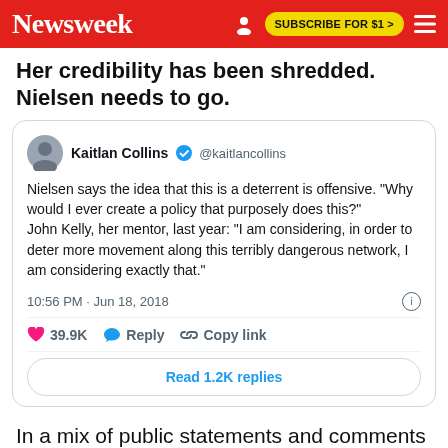Newsweek | SUBSCRIBE FOR $1 >
Her credibility has been shredded. Nielsen needs to go.
[Figure (screenshot): Embedded tweet from @kaitlancollins: Nielsen says the idea that this is a deterrent is offensive. "Why would I ever create a policy that purposely does this?" John Kelly, her mentor, last year: "I am considering, in order to deter more movement along this terribly dangerous network, I am considering exactly that." Posted 10:56 PM · Jun 18, 2018. 39.9K likes. Reply. Copy link. Read 1.2K replies.]
In a mix of public statements and comments